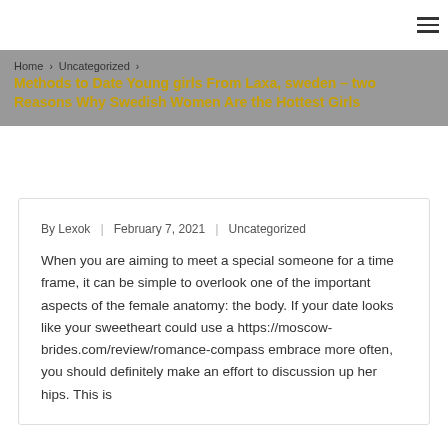≡ (hamburger menu icon)
Home › Uncategorized › Methods to Date Young girls From Laxa, sweden – two Reasons Why Swedish Women Are the Hottest Girls
By Lexok | February 7, 2021 | Uncategorized
When you are aiming to meet a special someone for a time frame, it can be simple to overlook one of the important aspects of the female anatomy: the body. If your date looks like your sweetheart could use a https://moscow-brides.com/review/romance-compass embrace more often, you should definitely make an effort to discussion up her hips. This is